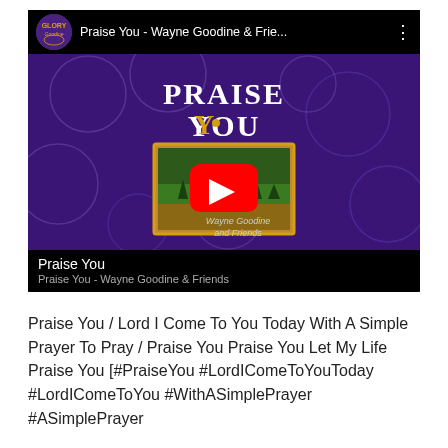[Figure (screenshot): YouTube video thumbnail for 'Praise You - Wayne Goodine & Frie...' showing album art with purple floral background, large 'PRAISE YOU' text in gold, a framed landscape image inset, and a red YouTube play button overlay. Channel avatar visible top-left. Video title 'Praise You' and subtitle 'Praise You - Wayne Goodine & Friends' shown at bottom.]
Praise You / Lord I Come To You Today With A Simple Prayer To Pray / Praise You Praise You Let My Life Praise You [#PraiseYou #LordIComeToYouToday #LordIComeToYou #WithASimplePrayer #ASimplePrayer